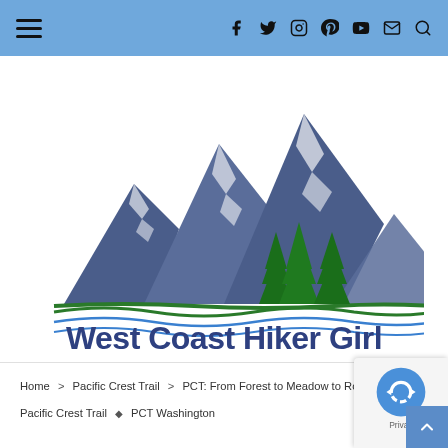Navigation bar with hamburger menu and social icons: f, twitter, instagram, pinterest, youtube, email, search
[Figure (logo): West Coast Hiker Girl logo: stylized blue-grey mountain peaks with green pine trees and wavy green and blue lines below, with 'West Coast Hiker Girl' text in dark blue]
Home > Pacific Crest Trail > PCT: From Forest to Meadow to Rocks
Pacific Crest Trail ◆ PCT Washington